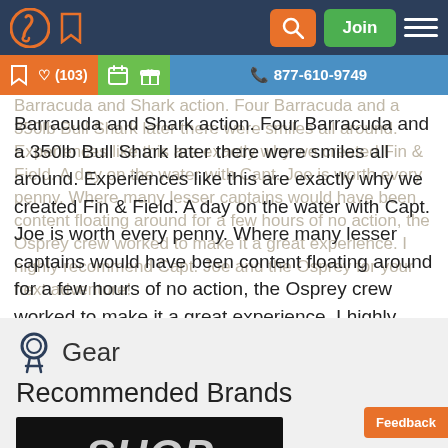Fin & Field website navigation bar with logo, bookmark, search, Join button, and menu
Barracuda and Shark action. Four Barracuda and a 350lb Bull Shark later there were smiles all around. Experiences like this are exactly why we created Fin & Field. A day on the water with Capt. Joe is worth every penny. Where many lesser captains would have been content floating around for a few hours of no action, the Osprey crew worked to make it a great experience. I highly recommend Capt. Joe and the Osprey for your next adventure!
Gear
Recommended Brands
[Figure (logo): SHOP logo on black background with orange arrow graphic]
Feedback